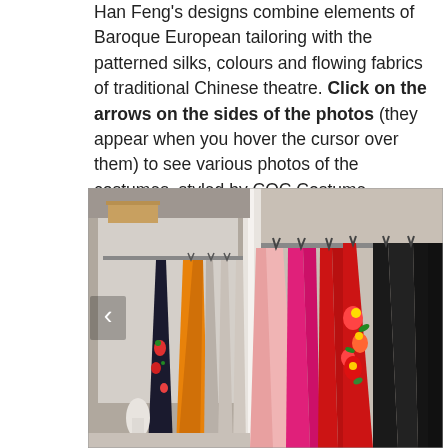Han Feng's designs combine elements of Baroque European tailoring with the patterned silks, colours and flowing fabrics of traditional Chinese theatre. Click on the arrows on the sides of the photos (they appear when you hover the cursor over them) to see various photos of the costumes, styled by COC Costume Supervisor Sandra Corazza.
[Figure (photo): Photo of a costume wardrobe rack showing colourful theatrical garments hanging on rails, including orange, red floral, pink, magenta, and black costumes. A left navigation arrow is visible on the left side of the image.]